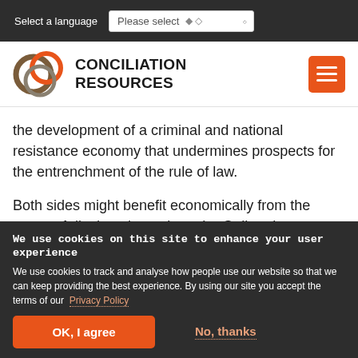Select a language   Please select
[Figure (logo): Conciliation Resources logo with interlocking rings in orange, dark and brown, and text CONCILIATION RESOURCES in bold black]
the development of a criminal and national resistance economy that undermines prospects for the entrenchment of the rule of law.
Both sides might benefit economically from the return of displaced people to the Gali region – Abkhazia through reinvigoration of the agricultural
We use cookies on this site to enhance your user experience
We use cookies to track and analyse how people use our website so that we can keep providing the best experience. By using our site you accept the terms of our Privacy Policy
OK, I agree
No, thanks